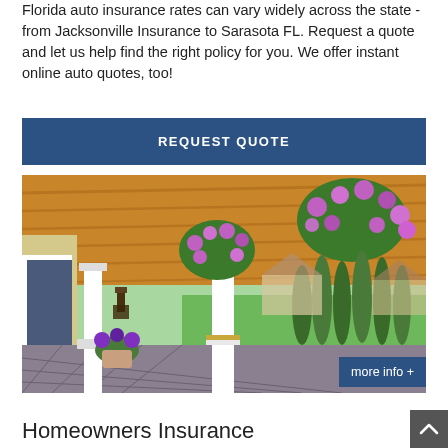Florida auto insurance rates can vary widely across the state - from Jacksonville Insurance to Sarasota FL. Request a quote and let us help find the right policy for you. We offer instant online auto quotes, too!
REQUEST QUOTE
[Figure (photo): Photo of a beautiful home porch with wooden ceiling, white columns, hanging flower baskets with purple flowers, and a manicured lawn in the background. Stone tile floor on the porch.]
more info +
Homeowners Insurance